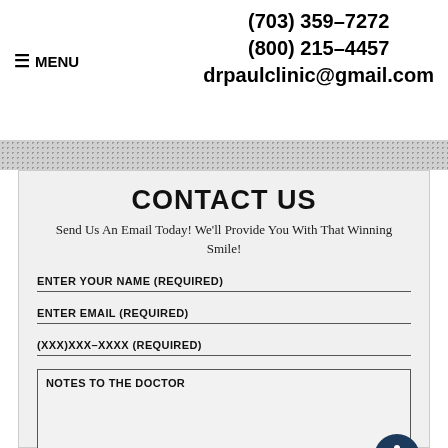(703) 359-7272
(800) 215-4457
drpaulclinic@gmail.com
≡ MENU
CONTACT US
Send Us An Email Today! We'll Provide You With That Winning Smile!
ENTER YOUR NAME (REQUIRED)
ENTER EMAIL (REQUIRED)
(XXX)XXX-XXXX (REQUIRED)
NOTES TO THE DOCTOR
Please do not submit any Protected Health Information (PHI).